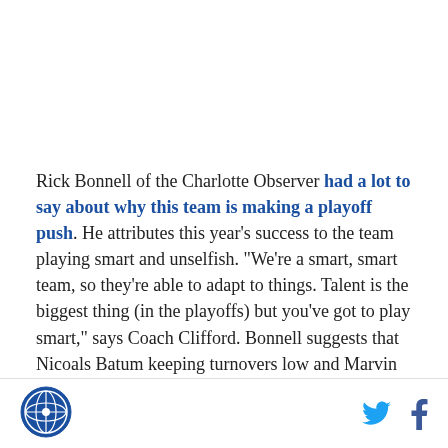Rick Bonnell of the Charlotte Observer had a lot to say about why this team is making a playoff push. He attributes this year's success to the team playing smart and unselfish. "We're a smart, smart team, so they're able to adapt to things. Talent is the biggest thing (in the playoffs) but you've got to play smart," says Coach Clifford. Bonnell suggests that Nicoals Batum keeping turnovers low and Marvin Williams
[logo] [twitter] [facebook]